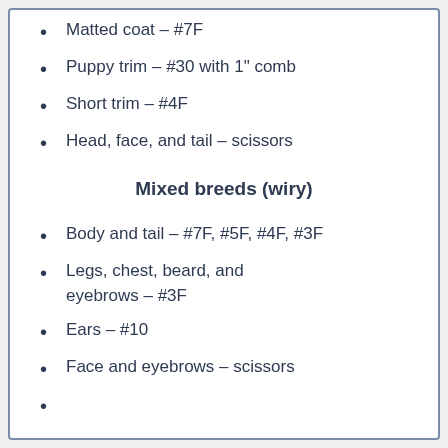Matted coat – #7F
Puppy trim – #30 with 1" comb
Short trim – #4F
Head, face, and tail – scissors
Mixed breeds (wiry)
Body and tail – #7F, #5F, #4F, #3F
Legs, chest, beard, and eyebrows – #3F
Ears – #10
Face and eyebrows – scissors
Cats